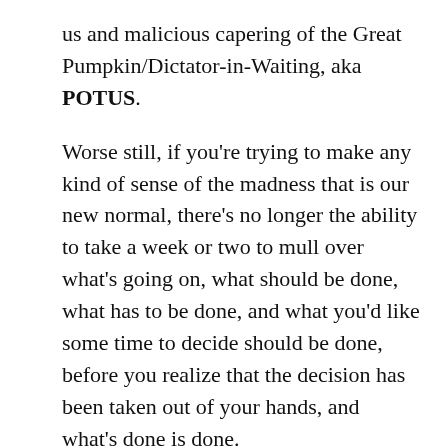us and malicious capering of the Great Pumpkin/Dictator-in-Waiting, aka POTUS.
Worse still, if you're trying to make any kind of sense of the madness that is our new normal, there's no longer the ability to take a week or two to mull over what's going on, what should be done, what has to be done, and what you'd like some time to decide should be done, before you realize that the decision has been taken out of your hands, and what's done is done.
Could our responses to COVID, here, down south, and abroad, have been handled better? Most certainly. But you see, that's the problem with 'novel' viruses – we've never dealt with them before. So we have to make up the rules as we go, and frankly, a lot of people aren't very good with following rules. Or even